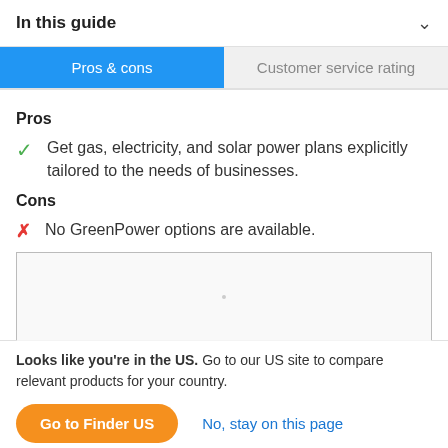In this guide
Pros & cons | Customer service rating
Pros
Get gas, electricity, and solar power plans explicitly tailored to the needs of businesses.
Cons
No GreenPower options are available.
[Figure (other): Empty image/ad placeholder box]
Looks like you're in the US. Go to our US site to compare relevant products for your country.
Go to Finder US  |  No, stay on this page